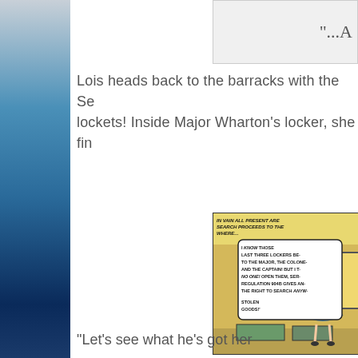"...A
Lois heads back to the barracks with the Se lockets! Inside Major Wharton’s locker, she fin
[Figure (illustration): Comic book panel showing Lois Lane in a blue tiered dress confronting soldiers in a barracks with lockers, with speech bubbles reading 'IN VAIN ALL PRESENT ARE SEARCH PROCEEDS TO THE WHERE... I KNOW THOSE LAST THREE LOCKERS BE TO THE MAJOR, THE COLONE AND THE CAPTAIN! BUT I T NO ONE! OPEN THEM, SER REGULATION 904B GIVES AN THE RIGHT TO SEARCH ANYW STOLEN GOODS!']
"Let's see what he's got her